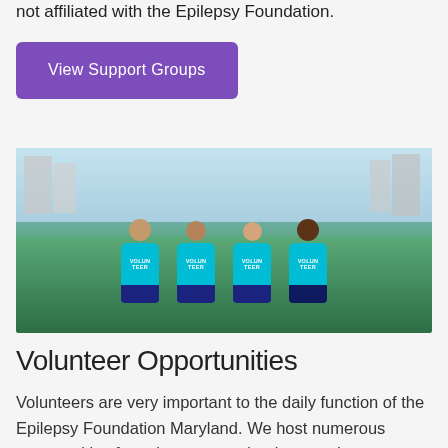not affiliated with the Epilepsy Foundation.
View Support Groups
[Figure (photo): Four volunteers wearing teal/turquoise 'VOLUNTEER' t-shirts sitting on grass outdoors with buildings in the background.]
Volunteer Opportunities
Volunteers are very important to the daily function of the Epilepsy Foundation Maryland. We host numerous opportunities for volunteers to plug-in on a short term or long term basis –